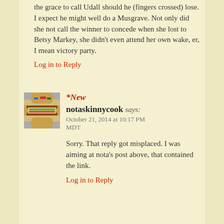the grace to call Udall should he (fingers crossed) lose. I expect he might well do a Musgrave. Not only did she not call the winner to concede when she lost to Betsy Markey, she didn't even attend her own wake, er, I mean victory party.
Log in to Reply
*New
notaskinnycook says:
October 21, 2014 at 10:17 PM MDT
Sorry. That reply got misplaced. I was aiming at nota's post above, that contained the link.
Log in to Reply